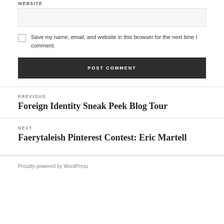WEBSITE
Save my name, email, and website in this browser for the next time I comment.
POST COMMENT
PREVIOUS
Foreign Identity Sneak Peek Blog Tour
NEXT
Faerytaleish Pinterest Contest: Eric Martell
Proudly powered by WordPress